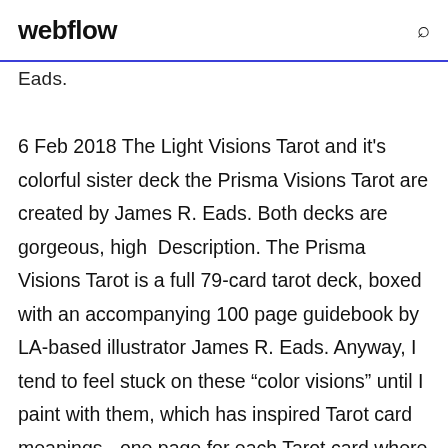webflow
Eads.
6 Feb 2018 The Light Visions Tarot and it's colorful sister deck the Prisma Visions Tarot are created by James R. Eads. Both decks are gorgeous, high  Description. The Prisma Visions Tarot is a full 79-card tarot deck, boxed with an accompanying 100 page guidebook by LA-based illustrator James R. Eads. Anyway, I tend to feel stuck on these “color visions” until I paint with them, which has inspired Tarot card meanings - one page for each Tarot card where you can jot down your Deck: Prisma Visions Tarot In this PDF download you get:. 2019 Full English Deck Tarot Cards DIY Silver Plating